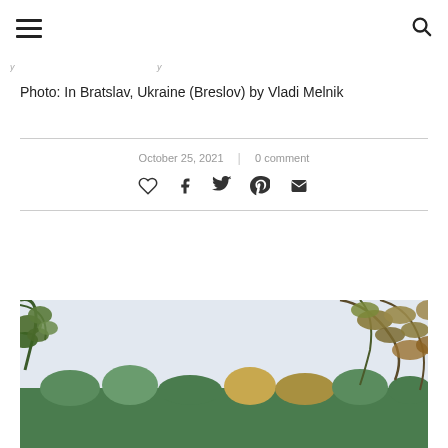☰   🔍
Photo: In Bratslav, Ukraine (Breslov) by Vladi Melnik
October 25, 2021  |  0 comment
[Figure (photo): Outdoor landscape photo showing tree branches with autumn leaves framing the top of the image, with a treeline of green and golden trees in the background under a pale sky.]